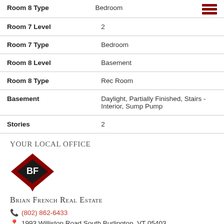| Property | Value |
| --- | --- |
| Room 8 Type | Bedroom |
| Room 7 Level | 2 |
| Room 7 Type | Bedroom |
| Room 8 Level | Basement |
| Room 8 Type | Rec Room |
| Basement | Daylight, Partially Finished, Stairs - Interior, Sump Pump |
| Stories | 2 |
Your Local Office
[Figure (logo): Brian French Real Estate diamond-shaped logo with BF initials]
Brian French Real Estate
(802) 862-6433
1993 Williston Road South Burlington, VT 05403